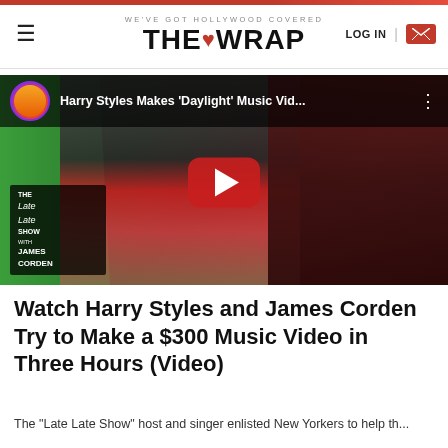WE'VE GOT HOLLYWOOD COVERED — THE WRAP — LOG IN
[Figure (screenshot): YouTube video thumbnail for 'Harry Styles Makes Daylight Music Vid...' from The Late Late Show with James Corden. Shows Harry Styles in colorful costume with a red sequined bow, a person in green morphsuit on left, and a party scene on right. YouTube play button overlay in center.]
Watch Harry Styles and James Corden Try to Make a $300 Music Video in Three Hours (Video)
The "Late Late Show" host and singer enlisted New Yorkers to help th...